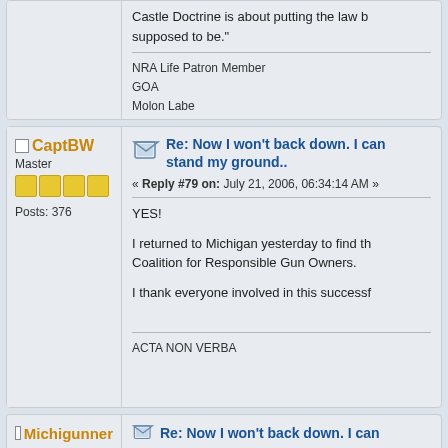Castle Doctrine is about putting the law back where it's supposed to be."
NRA Life Patron Member
GOA
Molon Labe
Offline CaptBW
Master
Posts: 376
Re: Now I won't back down. I can stand my ground..
« Reply #79 on: July 21, 2006, 06:34:14 AM »
YES!
I returned to Michigan yesterday to find th... Coalition for Responsible Gun Owners.
I thank everyone involved in this successf...
ACTA NON VERBA
Offline Michigunner
Re: Now I won't back down. I can...